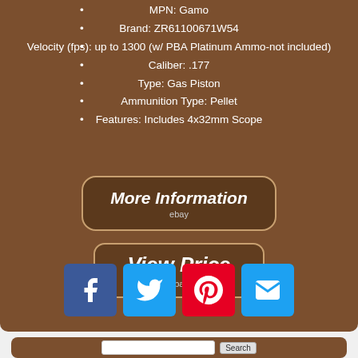MPN: Gamo
Brand: ZR61100671W54
Velocity (fps): up to 1300 (w/ PBA Platinum Ammo-not included)
Caliber: .177
Type: Gas Piston
Ammunition Type: Pellet
Features: Includes 4x32mm Scope
[Figure (screenshot): More Information button with eBay logo, brown background]
[Figure (screenshot): View Price button with eBay logo, brown background]
[Figure (infographic): Social sharing buttons: Facebook, Twitter, Pinterest, Email]
[Figure (screenshot): Search bar at bottom of page]